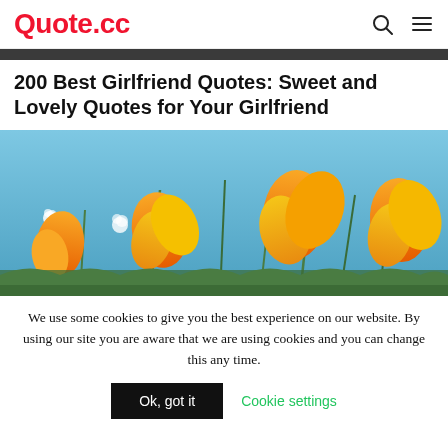Quote.cc
200 Best Girlfriend Quotes: Sweet and Lovely Quotes for Your Girlfriend
[Figure (photo): Close-up photo of yellow/orange poppy flowers against a bright blue sky]
We use some cookies to give you the best experience on our website. By using our site you are aware that we are using cookies and you can change this any time.
Ok, got it | Cookie settings